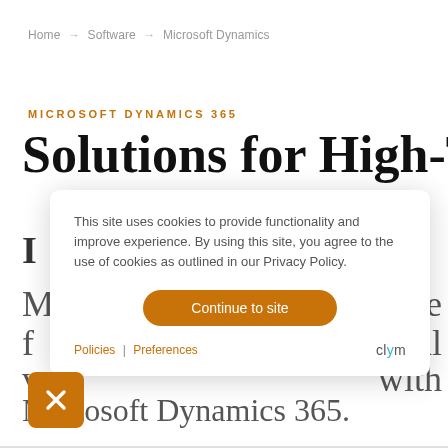Home → Software → Microsoft Dynamics
MICROSOFT DYNAMICS 365
Solutions for High-Tech
This site uses cookies to provide functionality and improve experience. By using this site, you agree to the use of cookies as outlined in our Privacy Policy.
Continue to site
Policies | Preferences
clym
Microsoft Dynamics 365.